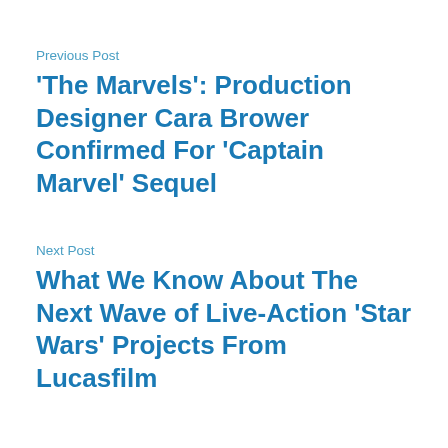Previous Post
'The Marvels': Production Designer Cara Brower Confirmed For 'Captain Marvel' Sequel
Next Post
What We Know About The Next Wave of Live-Action 'Star Wars' Projects From Lucasfilm